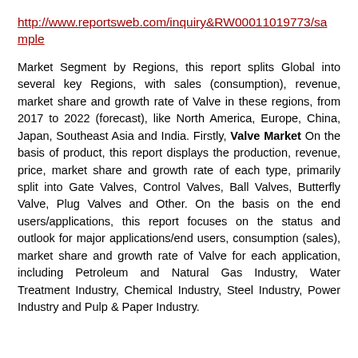http://www.reportsweb.com/inquiry&RW00011019773/sample
Market Segment by Regions, this report splits Global into several key Regions, with sales (consumption), revenue, market share and growth rate of Valve in these regions, from 2017 to 2022 (forecast), like North America, Europe, China, Japan, Southeast Asia and India. Firstly, Valve Market On the basis of product, this report displays the production, revenue, price, market share and growth rate of each type, primarily split into Gate Valves, Control Valves, Ball Valves, Butterfly Valve, Plug Valves and Other. On the basis on the end users/applications, this report focuses on the status and outlook for major applications/end users, consumption (sales), market share and growth rate of Valve for each application, including Petroleum and Natural Gas Industry, Water Treatment Industry, Chemical Industry, Steel Industry, Power Industry and Pulp & Paper Industry.